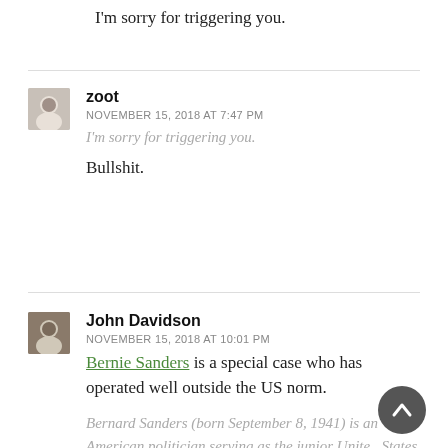I'm sorry for triggering you.
zoot
NOVEMBER 15, 2018 AT 7:47 PM
I'm sorry for triggering you.
Bullshit.
John Davidson
NOVEMBER 15, 2018 AT 10:01 PM
Bernie Sanders is a special case who has operated well outside the US norm.
Bernard Sanders (born September 8, 1941) is an American politician serving as the junior United States Senator from Vermont since 2007. The longest-serving Independent in congressional history